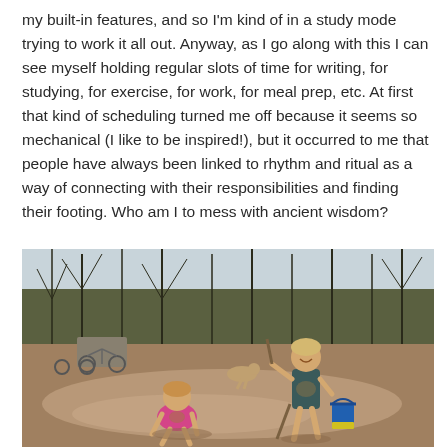my built-in features, and so I'm kind of in a study mode trying to work it all out. Anyway, as I go along with this I can see myself holding regular slots of time for writing, for studying, for exercise, for work, for meal prep, etc. At first that kind of scheduling turned me off because it seems so mechanical (I like to be inspired!), but it occurred to me that people have always been linked to rhythm and ritual as a way of connecting with their responsibilities and finding their footing. Who am I to mess with ancient wisdom?
[Figure (photo): Two young girls playing in mud outdoors. One girl is crouching down, the other is standing holding a stick and smiling, with a blue bucket nearby. Bare winter trees and bicycles visible in the background.]